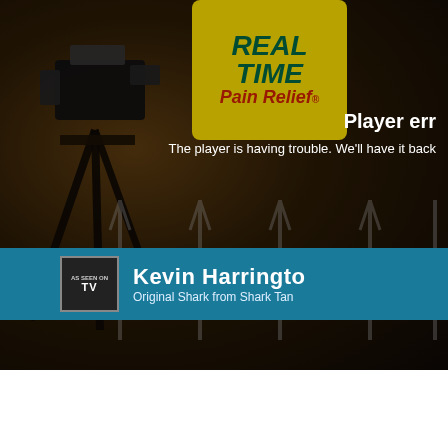[Figure (screenshot): Video player screenshot showing a darkened studio scene with a Real Time Pain Relief yellow sign in upper center, a camera/tripod silhouette on the left, microphone stands in the background, and a teal banner at the bottom reading 'Kevin Harrington - Original Shark from Shark Tank'. An error overlay displays 'Player err...' and 'The player is having trouble. We'll have it back...' text in white on the right side.]